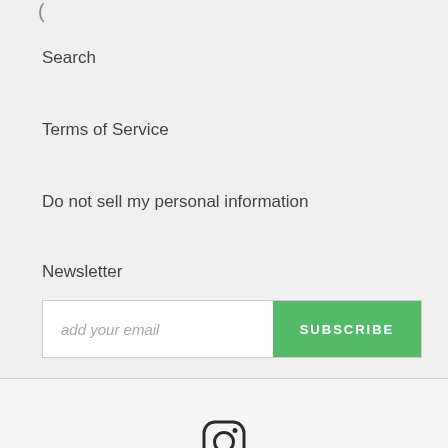Search
Terms of Service
Do not sell my personal information
Newsletter
[Figure (other): Email subscription form with 'add your email' input field and green SUBSCRIBE button]
[Figure (other): Instagram social media icon (rounded square camera icon)]